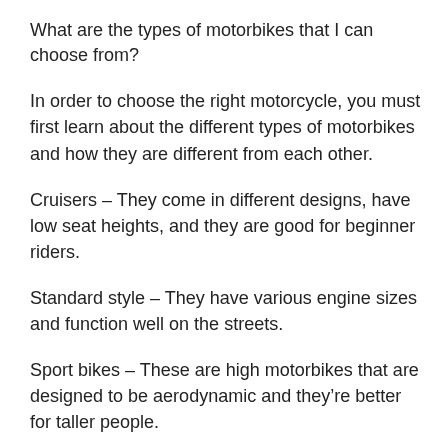What are the types of motorbikes that I can choose from?
In order to choose the right motorcycle, you must first learn about the different types of motorbikes and how they are different from each other.
Cruisers – They come in different designs, have low seat heights, and they are good for beginner riders.
Standard style – They have various engine sizes and function well on the streets.
Sport bikes – These are high motorbikes that are designed to be aerodynamic and they're better for taller people.
Dual-Sport style – The seat is taller than most bikes. It is considered a heavy-duty motorcycle because it can be used for all purposes whether it be cruising around the country